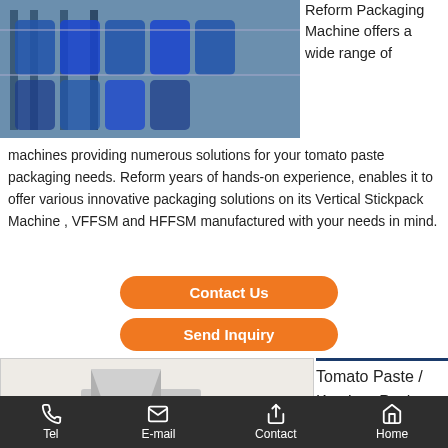[Figure (photo): Industrial packaging machine with blue cylindrical containers on a conveyor system]
Reform Packaging Machine offers a wide range of machines providing numerous solutions for your tomato paste packaging needs. Reform years of hands-on experience, enables it to offer various innovative packaging solutions on its Vertical Stickpack Machine , VFFSM and HFFSM manufactured with your needs in mind.
Contact Us
Send Inquiry
[Figure (photo): Tomato paste / ketchup packet packing machine, stainless steel industrial packaging equipment]
Tomato Paste / Ketchup Packet Packing
Tel   E-mail   Contact   Home